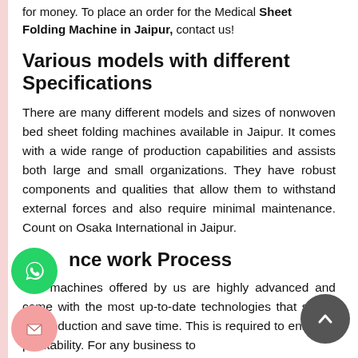for money. To place an order for the Medical Sheet Folding Machine in Jaipur, contact us!
Various models with different Specifications
There are many different models and sizes of nonwoven bed sheet folding machines available in Jaipur. It comes with a wide range of production capabilities and assists both large and small organizations. They have robust components and qualities that allow them to withstand external forces and also require minimal maintenance. Count on Osaka International in Jaipur.
nce work Process
The machines offered by us are highly advanced and come with the most up-to-date technologies that speed up production and save time. This is required to enhance profitability. For any business to